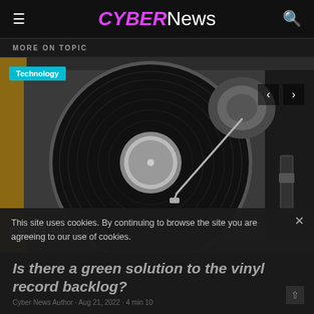CYBERNews
MORE ON TOPIC
[Figure (photo): Vinyl record turntable shot from above with BBC NEWS watermark in the lower left. Technology badge in upper left corner. Navigation arrows on the upper right.]
Is there a green solution to the vinyl record backlog?
This site uses cookies. By continuing to browse the site you are agreeing to our use of cookies.
Cyber News Author · Aug 21, 2022 · 4 min 10